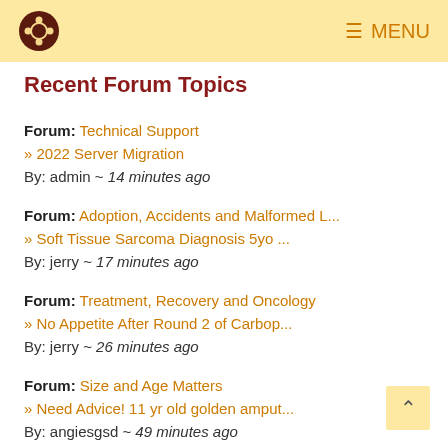MENU
Recent Forum Topics
Forum: Technical Support
» 2022 Server Migration
By: admin ~ 14 minutes ago
Forum: Adoption, Accidents and Malformed L...
» Soft Tissue Sarcoma Diagnosis 5yo ...
By: jerry ~ 17 minutes ago
Forum: Treatment, Recovery and Oncology
» No Appetite After Round 2 of Carbop...
By: jerry ~ 26 minutes ago
Forum: Size and Age Matters
» Need Advice! 11 yr old golden amput...
By: angiesgsd ~ 49 minutes ago